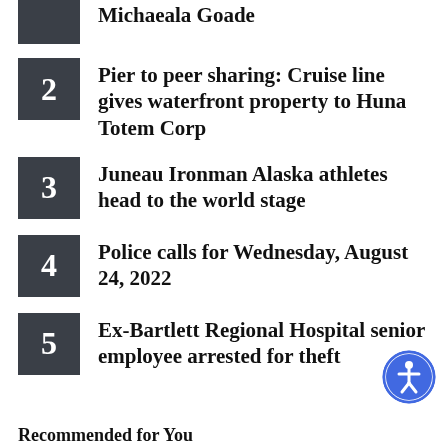Michaeala Goade
2 Pier to peer sharing: Cruise line gives waterfront property to Huna Totem Corp
3 Juneau Ironman Alaska athletes head to the world stage
4 Police calls for Wednesday, August 24, 2022
5 Ex-Bartlett Regional Hospital senior employee arrested for theft
Recommended for You